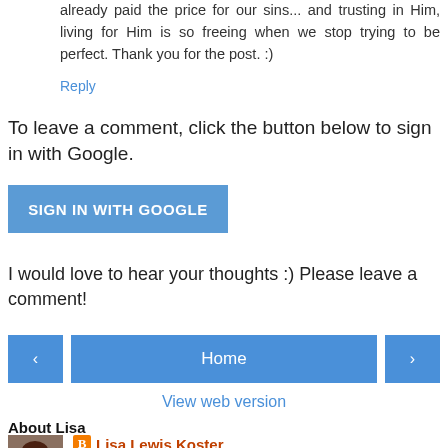already paid the price for our sins... and trusting in Him, living for Him is so freeing when we stop trying to be perfect. Thank you for the post. :)
Reply
To leave a comment, click the button below to sign in with Google.
[Figure (other): SIGN IN WITH GOOGLE button - blue rectangular button]
I would love to hear your thoughts :) Please leave a comment!
[Figure (other): Navigation bar with left arrow button, Home button, and right arrow button]
View web version
About Lisa
[Figure (photo): Photo of Lisa Lewis Koster - woman with dark hair]
Lisa Lewis Koster
I love spending time with God in His Word and sharing